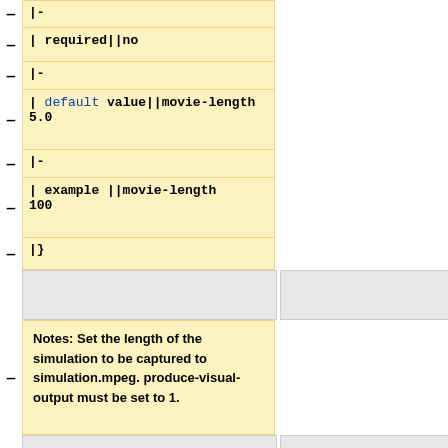|-
| required||no
|-
| default value||movie-length
5.0
|-
| example ||movie-length
100
|}
Notes: Set the length of the simulation to be captured to simulation.mpeg. produce-visual-output must be set to 1.
{|border="1" cellpadding="2"
{|border="1" cellpadding="2"